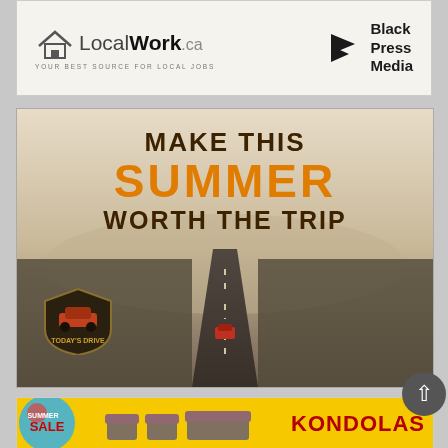[Figure (logo): LocalWork.ca and Black Press Media advertisement banner. LocalWork.ca logo with house icon and tagline 'YOUR BEST SOURCE FOR LOCAL JOBS'. Black Press Media logo with chevron/arrow icon and bold text 'Black Press Media'.]
[Figure (photo): Today's Drive advertisement. Aerial photo of a long straight road through flat landscape with a red car. Text overlay reads 'MAKE THIS SUMMER WORTH THE TRIP'. Today's Drive badge/shield logo in bottom left corner.]
[Figure (photo): Kondolas advertisement banner. Summer Sale promotion with patio furniture (conversation set). Text reads 'SUMMER SALE' and 'KONDOLAS' on yellow/gold background.]